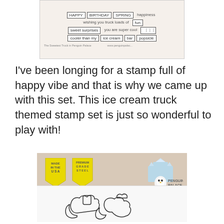[Figure (photo): Stamp set product image showing word stamps: HAPPY, BIRTHDAY, SPRING, happiness, wishing you truck loads of, fun, sweet surprises, you are super cool, cooler than my, ice cream, bar, popsicle. Caption reads: The Sweetest Truck in Penguin Palace]
I've been longing for a stamp full of happy vibe and that is why we came up with this set. This ice cream truck themed stamp set is just so wonderful to play with!
[Figure (photo): Penguin Perfect Cuts product packaging showing die cut shapes of ice cream truck characters, with Made in the USA and Premium Grade Steel badges, and Penguin Palace logo]